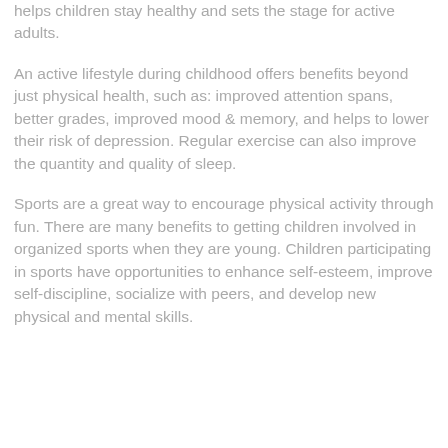helps children stay healthy and sets the stage for active adults.
An active lifestyle during childhood offers benefits beyond just physical health, such as: improved attention spans, better grades, improved mood & memory, and helps to lower their risk of depression. Regular exercise can also improve the quantity and quality of sleep.
Sports are a great way to encourage physical activity through fun. There are many benefits to getting children involved in organized sports when they are young. Children participating in sports have opportunities to enhance self-esteem, improve self-discipline, socialize with peers, and develop new physical and mental skills.